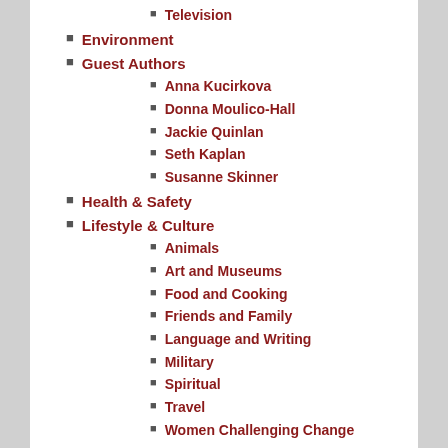Television
Environment
Guest Authors
Anna Kucirkova
Donna Moulico-Hall
Jackie Quinlan
Seth Kaplan
Susanne Skinner
Health & Safety
Lifestyle & Culture
Animals
Art and Museums
Food and Cooking
Friends and Family
Language and Writing
Military
Spiritual
Travel
Women Challenging Change
ARCHIVE OF POSTS